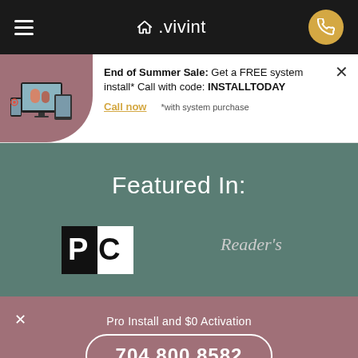vivint navigation bar with hamburger menu and phone button
End of Summer Sale: Get a FREE system install* Call with code: INSTALLTODAY
Call now  *with system purchase
Featured In:
[Figure (screenshot): Partial logos of publications - Reader's Digest visible on right side]
Pro Install and $0 Activation
704.800.8582